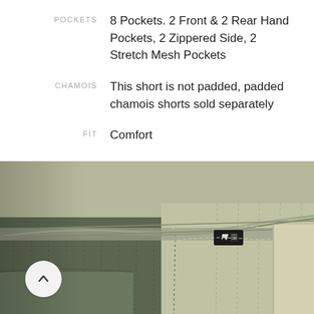POCKETS: 8 Pockets. 2 Front & 2 Rear Hand Pockets, 2 Zippered Side, 2 Stretch Mesh Pockets
CHAMOIS: This short is not padded, padded chamois shorts sold separately
FIT: Comfort
[Figure (photo): Close-up photo of olive/khaki cycling shorts fabric showing pocket detail with a small black brand tag on a zippered pocket, with layered fabric and stitching visible]